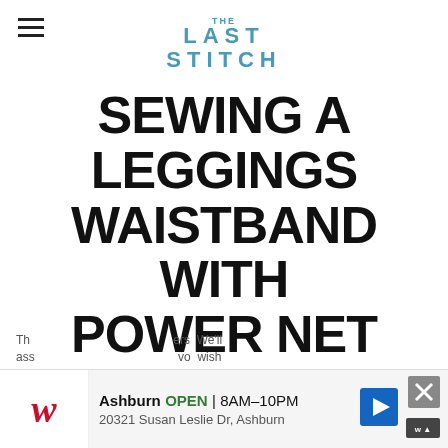THE LAST STITCH
SEWING A LEGGINGS WAISTBAND WITH POWER NET
THELASTSTITCH.COM | JOHANNA LUNDSTRÖM
SEWALONGS
Th... ass...  er... We'll  vo... wish
[Figure (screenshot): Advertisement banner for Walgreens pharmacy: Ashburn OPEN 8AM-10PM, 20321 Susan Leslie Dr, Ashburn]